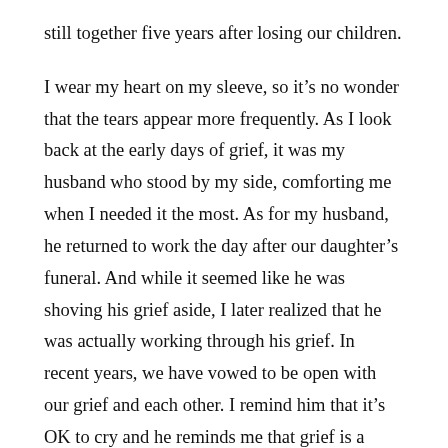still together five years after losing our children.
I wear my heart on my sleeve, so it’s no wonder that the tears appear more frequently. As I look back at the early days of grief, it was my husband who stood by my side, comforting me when I needed it the most. As for my husband, he returned to work the day after our daughter’s funeral. And while it seemed like he was shoving his grief aside, I later realized that he was actually working through his grief. In recent years, we have vowed to be open with our grief and each other. I remind him that it’s OK to cry and he reminds me that grief is a marathon, not a sprint.
As the smallest visible characters are just straight beginning